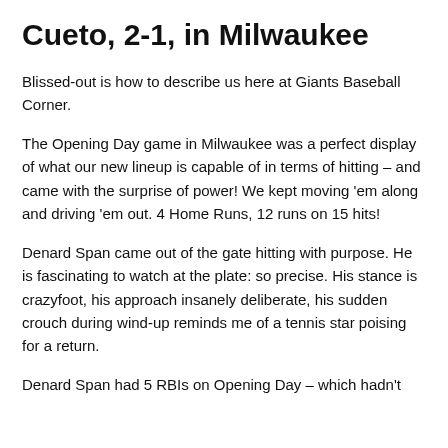Cueto, 2-1, in Milwaukee
Blissed-out is how to describe us here at Giants Baseball Corner.
The Opening Day game in Milwaukee was a perfect display of what our new lineup is capable of in terms of hitting – and came with the surprise of power! We kept moving 'em along and driving 'em out. 4 Home Runs, 12 runs on 15 hits!
Denard Span came out of the gate hitting with purpose. He is fascinating to watch at the plate: so precise. His stance is crazyfoot, his approach insanely deliberate, his sudden crouch during wind-up reminds me of a tennis star poising for a return.
Denard Span had 5 RBIs on Opening Day – which hadn't